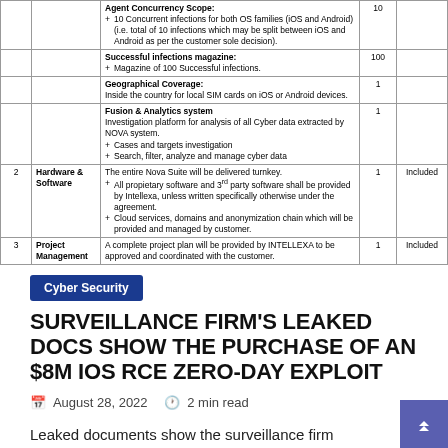| # | Item | Description | Qty | Notes |
| --- | --- | --- | --- | --- |
|  |  | Agent Concurrency Scope:
+ 10 Concurrent infections for both OS families (iOS and Android) (i.e. total of 10 infections which may be split between iOS and Android as per the customer sole decision). | 10 |  |
|  |  | Successful infections magazine:
+ Magazine of 100 Successful infections. | 100 |  |
|  |  | Geographical Coverage:
Inside the country for local SIM cards on iOS or Android devices. | 1 |  |
|  |  | Fusion & Analytics system
Investigation platform for analysis of all Cyber data extracted by NOVA system.
+ Cases and targets investigation
+ Search, filter, analyze and manage cyber data | 1 |  |
| 2 | Hardware & Software | The entire Nova Suite will be delivered turnkey.
+ All propietary software and 3rd party software shall be provided by Intellexa, unless written specifically otherwise under the agreement.
+ Cloud services, domains and anonymization chain which will be provided and managed by customer. | 1 | Included |
| 3 | Project Management | A complete project plan will be provided by INTELLEXA to be approved and coordinated with the customer. | 1 | Included |
Cyber Security
SURVEILLANCE FIRM'S LEAKED DOCS SHOW THE PURCHASE OF AN $8M IOS RCE ZERO-DAY EXPLOIT
August 28, 2022   2 min read
Leaked documents show the surveillance firm Intellexa offering exploits for iOS and Android devices for...